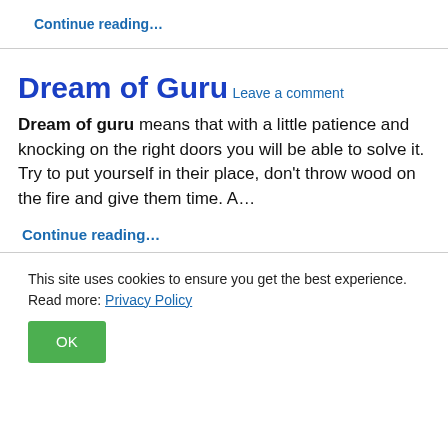Continue reading…
Dream of Guru
Leave a comment
Dream of guru means that with a little patience and knocking on the right doors you will be able to solve it. Try to put yourself in their place, don't throw wood on the fire and give them time. A…
Continue reading…
This site uses cookies to ensure you get the best experience. Read more: Privacy Policy
OK